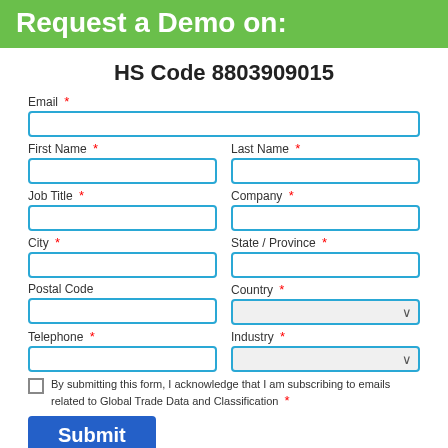Request a Demo on:
HS Code 8803909015
Email *
First Name * | Last Name *
Job Title * | Company *
City * | State / Province *
Postal Code | Country *
Telephone * | Industry *
By submitting this form, I acknowledge that I am subscribing to emails related to Global Trade Data and Classification *
Submit